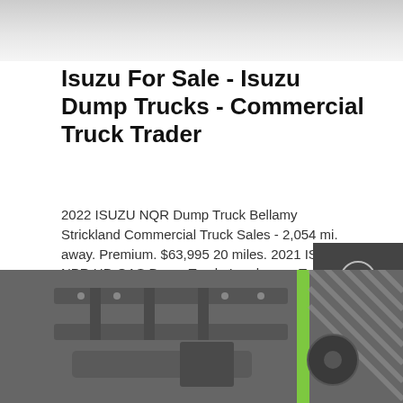[Figure (photo): Top portion of a vehicle or truck undercarriage, partially visible, light gray background]
Isuzu For Sale - Isuzu Dump Trucks - Commercial Truck Trader
2022 ISUZU NQR Dump Truck Bellamy Strickland Commercial Truck Sales - 2,054 mi. away. Premium. $63,995 20 miles. 2021 ISUZU NPR HD GAS Dump Truck, Landscape Truck, Contractor Truck Isuzu Truck Of Lehigh Valley - 2,198 mi. away. Premium. $73,995 20 miles.
[Figure (screenshot): Side panel with Chat, Email, and Contact icons on dark gray background]
GET A QUOTE
[Figure (photo): Underside/undercarriage of an Isuzu dump truck showing frame, axle, and mechanical components, with green stripe and diagonal tire tread pattern visible]